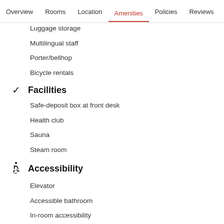Overview  Rooms  Location  Amenities  Policies  Reviews
Luggage storage
Multilingual staff
Porter/bellhop
Bicycle rentals
Facilities
Safe-deposit box at front desk
Health club
Sauna
Steam room
Accessibility
Elevator
Accessible bathroom
In-room accessibility
Wheelchair-accessible parking